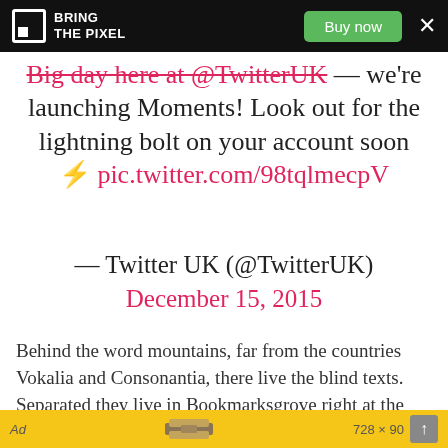BRING THE PIXEL — Buy now
Big day here at @TwitterUK — we're launching Moments! Look out for the lightning bolt on your account soon ⚡ pic.twitter.com/98tqlmecpV
— Twitter UK (@TwitterUK)
December 15, 2015
Behind the word mountains, far from the countries Vokalia and Consonantia, there live the blind texts. Separated they live in Bookmarksgrove right at the coast of the Semantics, a large language ocean.
Ad  728 × 90